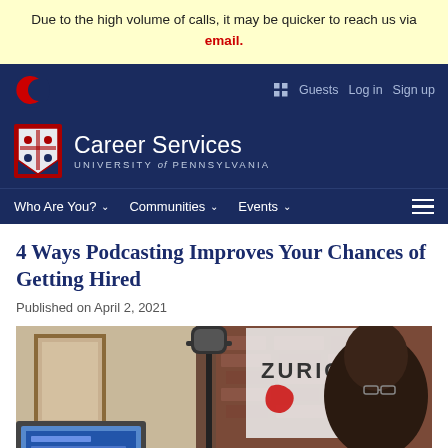Due to the high volume of calls, it may be quicker to reach us via email.
Career Services – University of Pennsylvania | Guests | Log in | Sign up
4 Ways Podcasting Improves Your Chances of Getting Hired
Published on April 2, 2021
[Figure (photo): Person recording a podcast at a microphone, with a laptop and Zurich banner in the background]